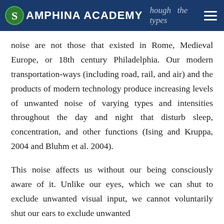SAMPHINA ACADEMY
noise are not those that existed in Rome, Medieval Europe, or 18th century Philadelphia. Our modern transportation-ways (including road, rail, and air) and the products of modern technology produce increasing levels of unwanted noise of varying types and intensities throughout the day and night that disturb sleep, concentration, and other functions (Ising and Kruppa, 2004 and Bluhm et al. 2004).
This noise affects us without our being consciously aware of it. Unlike our eyes, which we can shut to exclude unwanted visual input, we cannot voluntarily shut our ears to exclude unwanted